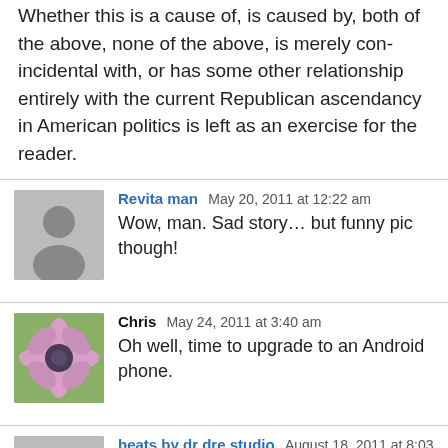Whether this is a cause of, is caused by, both of the above, none of the above, is merely con-incidental with, or has some other relationship entirely with the current Republican ascendancy in American politics is left as an exercise for the reader.
Revita man  May 20, 2011 at 12:22 am
Wow, man. Sad story… but funny pic though!
Chris  May 24, 2011 at 3:40 am
Oh well, time to upgrade to an Android phone.
beats by dr dre studio  August 18, 2011 at 8:03 pm
Developed in collaboration between legendary music producer and artist Dr. Dre, engineers from Monster Cable and renowned industrial designer Robert Brunner. The Beats by Dr. Dre Studio headphones allow